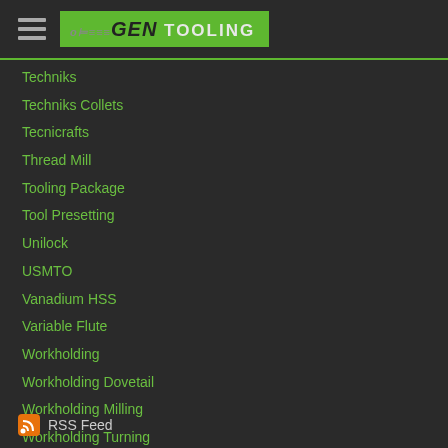[Figure (logo): NextGen Tooling logo - green background with GEN TOOLING text]
Techniks
Techniks Collets
Tecnicrafts
Thread Mill
Tooling Package
Tool Presetting
Unilock
USMTO
Vanadium HSS
Variable Flute
Workholding
Workholding Dovetail
Workholding Milling
Workholding Turning
Xebec
RSS Feed